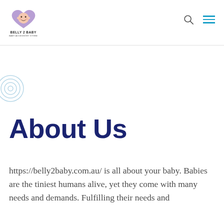[Figure (logo): Belly 2 Baby logo with purple heart containing a baby face illustration, and text 'BELLY 2 BABY' below]
About Us
https://belly2baby.com.au/ is all about your baby. Babies are the tiniest humans alive, yet they come with many needs and demands. Fulfilling their needs and